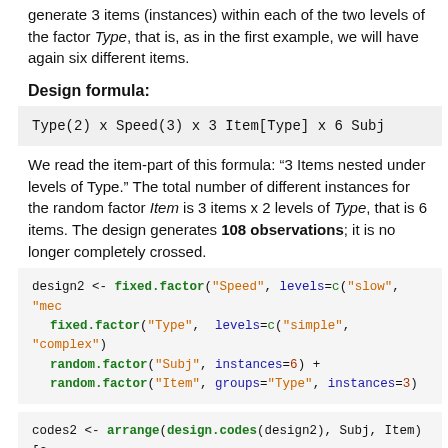generate 3 items (instances) within each of the two levels of the factor Type, that is, as in the first example, we will have again six different items.
Design formula:
We read the item-part of this formula: “3 Items nested under levels of Type.” The total number of different instances for the random factor Item is 3 items x 2 levels of Type, that is 6 items. The design generates 108 observations; it is no longer completely crossed.
[Figure (screenshot): Code block showing R code: design2 <- fixed.factor("Speed", levels=c("slow", "mec   fixed.factor("Type",  levels=c("simple", "complex")   random.factor("Subj", instances=6) +   random.factor("Item", groups="Type", instances=3)]
[Figure (screenshot): Code block showing R code: codes2 <- arrange(design.codes(design2), Subj, Item)[c   codes2]
[Figure (screenshot): Code block showing R output: ## # A tibble: 108 x 4
##    Speed  Type    Subj  Item]